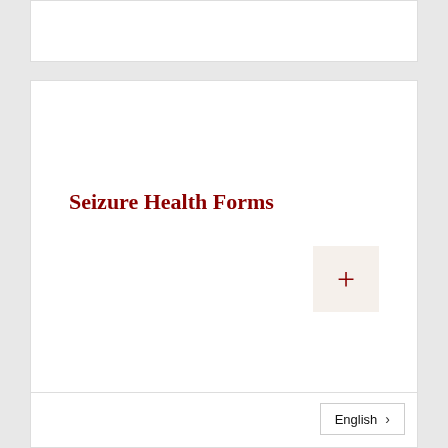Seizure Health Forms
English >